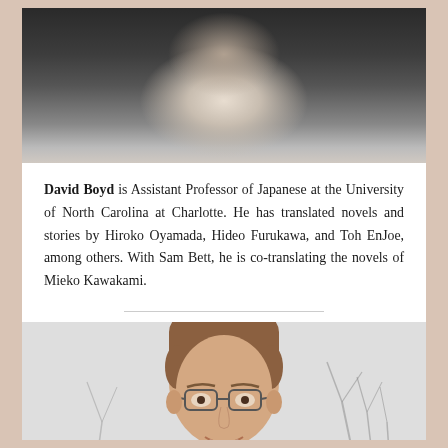[Figure (photo): Cropped photo of a person wearing a dark jacket and light shirt, only the lower face and neck/chest area visible]
David Boyd is Assistant Professor of Japanese at the University of North Carolina at Charlotte. He has translated novels and stories by Hiroko Oyamada, Hideo Furukawa, and Toh EnJoe, among others. With Sam Bett, he is co-translating the novels of Mieko Kawakami.
[Figure (photo): Photo of a young man with short hair and glasses, smiling, with blurred background of bare branches or twigs]